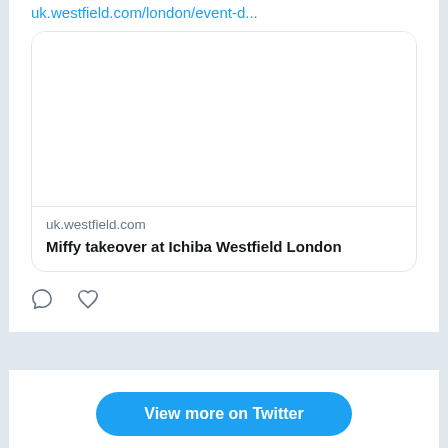uk.westfield.com/london/event-d...
[Figure (screenshot): Preview card showing a white image area above domain and title text]
uk.westfield.com
Miffy takeover at Ichiba Westfield London
[Figure (other): Tweet action icons: comment bubble and heart/like]
View more on Twitter
Learn more about privacy on Twitter